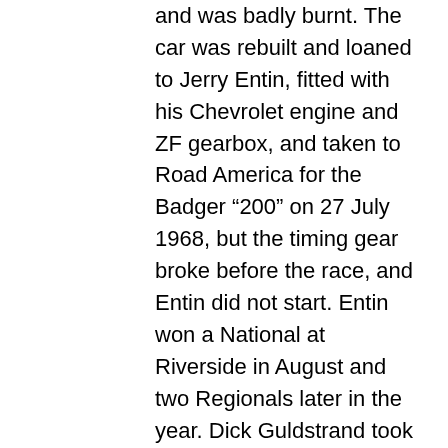and was badly burnt. The car was rebuilt and loaned to Jerry Entin, fitted with his Chevrolet engine and ZF gearbox, and taken to Road America for the Badger "200" on 27 July 1968, but the timing gear broke before the race, and Entin did not start. Entin won a National at Riverside in August and two Regionals later in the year. Dick Guldstrand took over the car for the Laguna Seca 'Pro' race in October and it was then driven by Rex Ramsey at the ARRC, and at the Monaco International Trophy in New Zealand at the end of December. Ramsey continued to drive the car in 1969, winning three SCCA Nationals but was well off the pace in Pro races. It was then shared by Chuck Elliott and Bruce Eglinton in SCCA Regionals and Nationals respectively in 1970 and 1971. Then sold to Mal Patterson (San Jose, CA), who entered it for the Pro race at Laguna Seca